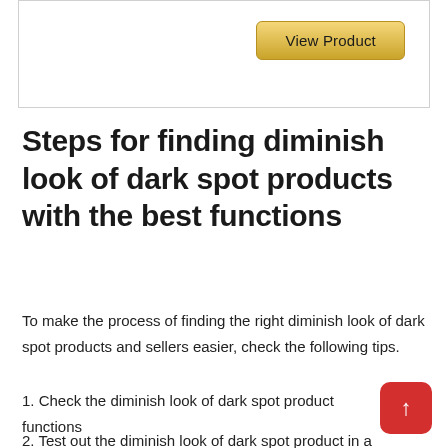[Figure (other): Top card/box with a 'View Product' button styled with a gold/yellow gradient background]
Steps for finding diminish look of dark spot products with the best functions
To make the process of finding the right diminish look of dark spot products and sellers easier, check the following tips.
1. Check the diminish look of dark spot product functions
2. Test out the diminish look of dark spot product in a